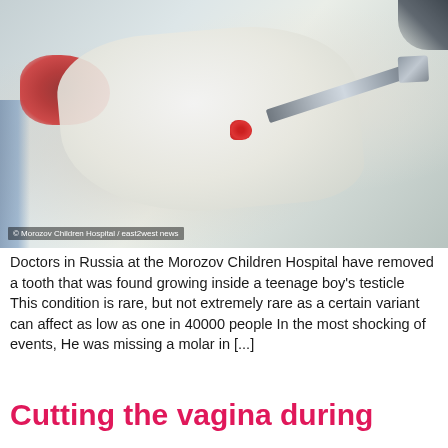[Figure (photo): Surgical photograph showing a removed tooth-like tissue specimen held by metal forceps on a white surgical drape, with blood visible. Watermark reads: © Morozov Children Hospital / east2west news]
© Morozov Children Hospital / east2west news
Doctors in Russia at the Morozov Children Hospital have removed a tooth that was found growing inside a teenage boy's testicle  This condition is rare, but not extremely rare as a certain variant can affect as low as one in 40000 people In the most shocking of events, He was missing a molar in [...]
Cutting the vagina during